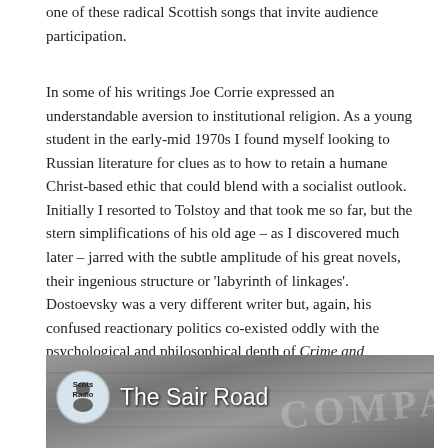one of these radical Scottish songs that invite audience participation.
In some of his writings Joe Corrie expressed an understandable aversion to institutional religion. As a young student in the early-mid 1970s I found myself looking to Russian literature for clues as to how to retain a humane Christ-based ethic that could blend with a socialist outlook. Initially I resorted to Tolstoy and that took me so far, but the stern simplifications of his old age – as I discovered much later – jarred with the subtle amplitude of his great novels, their ingenious structure or 'labyrinth of linkages'. Dostoevsky was a very different writer but, again, his confused reactionary politics co-existed oddly with the psychological and philosophical depth of Crime and Punishment. I would argue that Dostoevsky failed to understand politics, but that he grasped the psychology of politics.
[Figure (screenshot): A Scots Radio podcast thumbnail image for 'The Sair Road', showing a black and white photo of stone building with carved lettering 'COMPANY', overlaid with the Scots Radio circular logo badge and the title 'The Sair Road' in white text.]